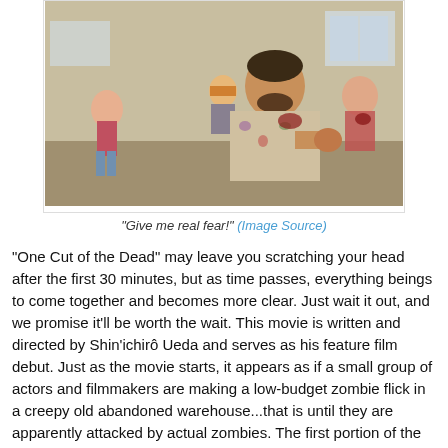[Figure (photo): Scene from 'One Cut of the Dead' showing a bearded man in a floral shirt gesturing aggressively toward the camera, with two other people visible in the background in an abandoned warehouse setting.]
"Give me real fear!" (Image Source)
"One Cut of the Dead" may leave you scratching your head after the first 30 minutes, but as time passes, everything beings to come together and becomes more clear. Just wait it out, and we promise it'll be worth the wait. This movie is written and directed by Shin'ichirô Ueda and serves as his feature film debut. Just as the movie starts, it appears as if a small group of actors and filmmakers are making a low-budget zombie flick in a creepy old abandoned warehouse...that is until they are apparently attacked by actual zombies. The first portion of the film looks really, really low-budget and is loaded with "so bad, they are good" moments. I'm not going to sugarcoat it, I laughed my ass off at the first part of this movie, like genuine laughter from deep